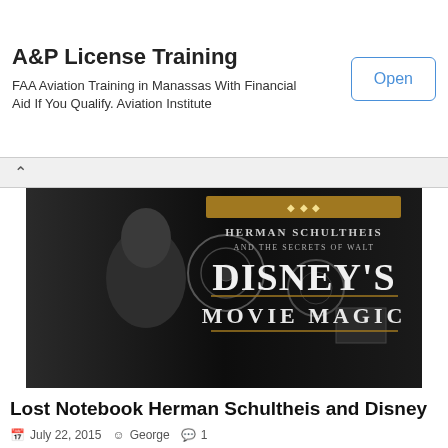A&P License Training
FAA Aviation Training in Manassas With Financial Aid If You Qualify. Aviation Institute
[Figure (photo): Black and white book cover image for 'Herman Schultheis and The Secrets of Walt Disney's Movie Magic' showing a man with film equipment]
Lost Notebook Herman Schultheis and Disney
July 22, 2015   George   1
The Lost Notebook Herman Schultheis and the Secrets of Walt Disney's Movie Magic by John Canemaker It's hard to imagine how monumental a book [...]